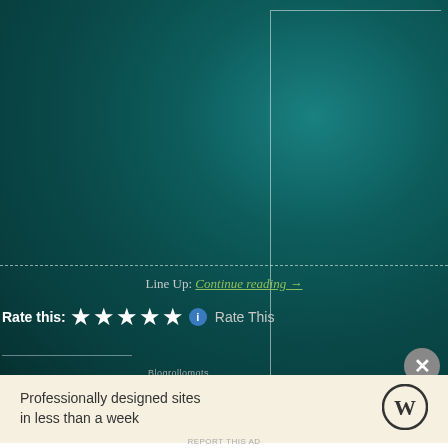[Figure (screenshot): Teal/dark cyan textured background with a white-bordered inner rectangle in the upper right portion]
Line Up: Continue reading →
Rate this: ★★★★★ ℹ Rate This
Blogrollomots
Professionally designed sites in less than a week
[Figure (logo): WordPress logo (W in circle)]